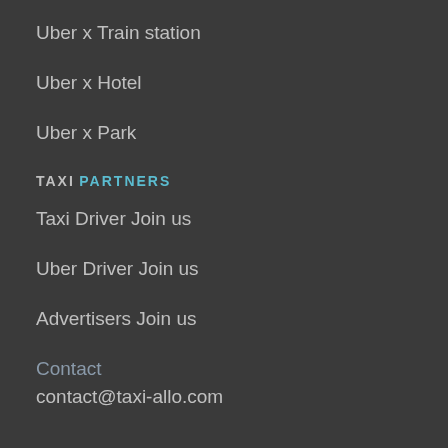Uber x Train station
Uber x Hotel
Uber x Park
TAXI PARTNERS
Taxi Driver Join us
Uber Driver Join us
Advertisers Join us
Contact
contact@taxi-allo.com